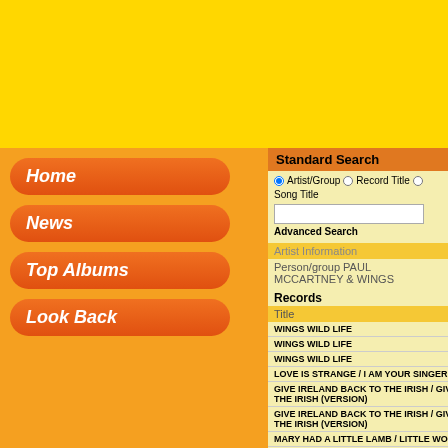[Figure (screenshot): Yellow top banner area of website]
Home
News
Top Albums
Look Back
Standard Search
Artist/Group  Record Title  Song Title
Advanced Search
Artist Information
Person/group PAUL MCCARTNEY & WINGS
Records
Title
WINGS WILD LIFE
WINGS WILD LIFE
WINGS WILD LIFE
LOVE IS STRANGE / I AM YOUR SINGER
GIVE IRELAND BACK TO THE IRISH / GIVE IRELAND BACK TO THE IRISH (VERSION)
GIVE IRELAND BACK TO THE IRISH / GIVE IRELAND BACK TO THE IRISH (VERSION)
MARY HAD A LITTLE LAMB / LITTLE WOMAN LOVE
MARY HAD A LITTLE LAMB / LITTLE WOMAN LOVE
HI, HI, HI / C MOON
HI, HI, HI / C MOON